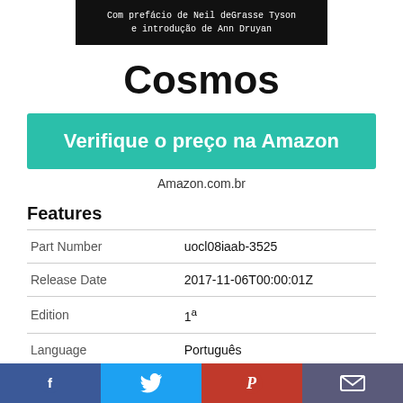[Figure (illustration): Book cover banner with text 'Com prefácio de Neil deGrasse Tyson e introdução de Ann Druyan' on dark background]
Cosmos
Verifique o preço na Amazon
Amazon.com.br
Features
| Part Number | uocl08iaab-3525 |
| Release Date | 2017-11-06T00:00:01Z |
| Edition | 1ª |
| Language | Português |
[Figure (infographic): Social sharing bar with Facebook, Twitter, Pinterest, and email icons]